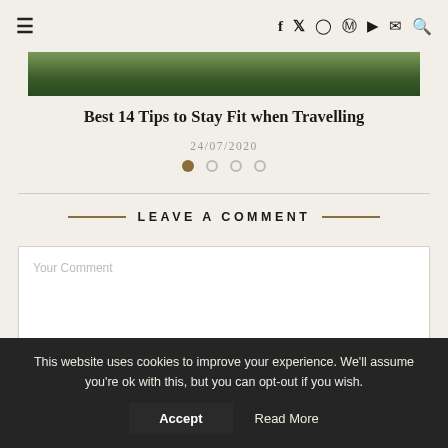≡  f  𝕏  ☐  𝓟  ▶  ✉  🔍
[Figure (photo): Green foliage/forest image strip at top of article]
Best 14 Tips to Stay Fit when Travelling
24/07/2020
LEAVE A COMMENT
Your Comment
This website uses cookies to improve your experience. We'll assume you're ok with this, but you can opt-out if you wish. Accept  Read More